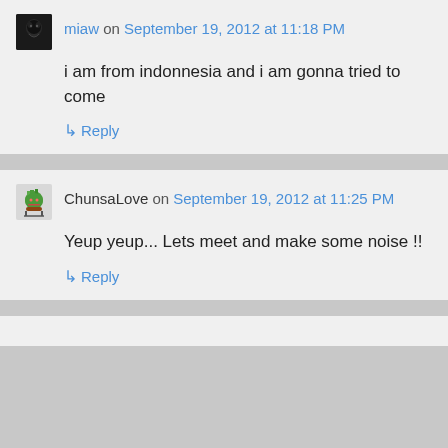miaw on September 19, 2012 at 11:18 PM
i am from indonnesia and i am gonna tried to come
↳ Reply
ChunsaLove on September 19, 2012 at 11:25 PM
Yeup yeup... Lets meet and make some noise !!
↳ Reply